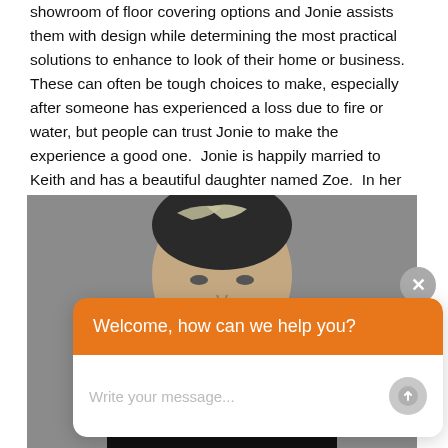showroom of floor covering options and Jonie assists them with design while determining the most practical solutions to enhance to look of their home or business. These can often be tough choices to make, especially after someone has experienced a loss due to fire or water, but people can trust Jonie to make the experience a good one. Jonie is happily married to Keith and has a beautiful daughter named Zoe. In her spare time, she enjoys spending time with her family, working in the yard and traveling, especially to the Gulf Coast.
[Figure (photo): Headshot photo of a man with salt-and-pepper hair against a grey background, partially obscured by a chat widget overlay]
[Figure (screenshot): Chat widget overlay with orange header saying 'Welcome, how can we help you?' and white input area with placeholder text 'Write your message...' and a grey send button, plus a grey close (X) button in upper right]